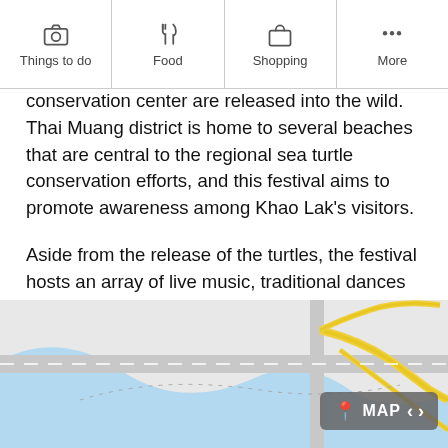Things to do | Food | Shopping | More
conservation center are released into the wild. Thai Muang district is home to several beaches that are central to the regional sea turtle conservation efforts, and this festival aims to promote awareness among Khao Lak’s visitors.
Aside from the release of the turtles, the festival hosts an array of live music, traditional dances and parades throughout the week. Everything is eco-friendly, and there are workshops and a funfair to entertain the kids. Tons of local vendors sell their wares at night, so you can browse the sea-related trinkets and eat snacky street food all you like.
[Figure (map): Street map showing roads and a blue water body, with a MAP button overlay in the bottom right corner.]